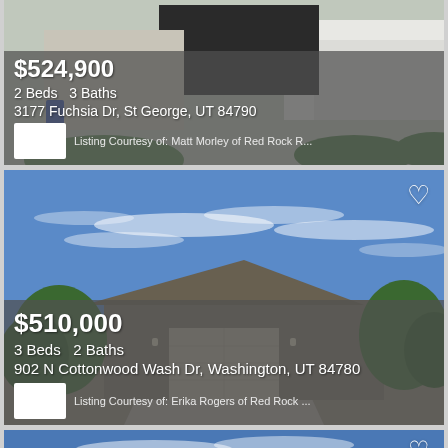[Figure (photo): Exterior photo of modern white home with dark garage door]
$524,900
2 Beds   3 Baths
3177 Fuchsia Dr, St George, UT 84790
Listing Courtesy of: Matt Morley of Red Rock R...
[Figure (photo): Exterior photo of tan/brown ranch home with blue sky and wispy clouds, heart/favorite icon top right]
$510,000
3 Beds   2 Baths
902 N Cottonwood Wash Dr, Washington, UT 84780
Listing Courtesy of: Erika Rogers of Red Rock ...
[Figure (photo): Partial exterior photo of another home with blue sky, heart/favorite icon top right]